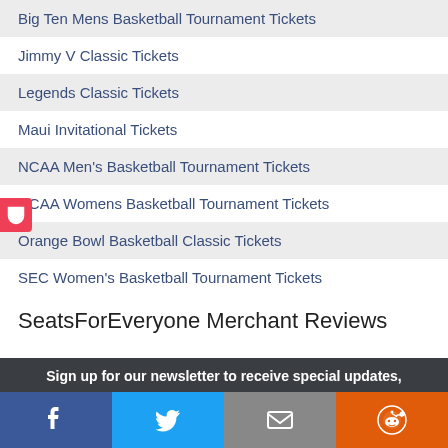Big Ten Mens Basketball Tournament Tickets
Jimmy V Classic Tickets
Legends Classic Tickets
Maui Invitational Tickets
NCAA Men's Basketball Tournament Tickets
NCAA Womens Basketball Tournament Tickets
Orange Bowl Basketball Classic Tickets
SEC Women's Basketball Tournament Tickets
SeatsForEveryone Merchant Reviews
Sign up for our newsletter to receive special updates,